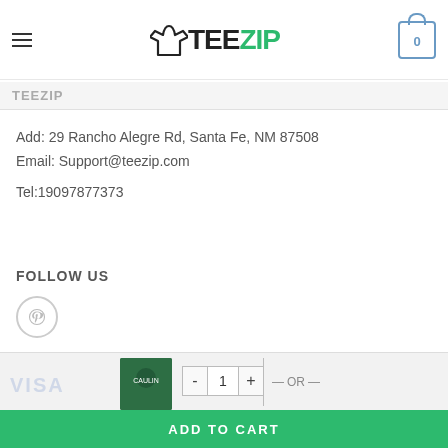Terms & Conditions
[Figure (logo): TEEZIP logo with t-shirt icon, TEE in black and ZIP in green]
TEEZIP
Add: 29 Rancho Alegre Rd, Santa Fe, NM 87508
Email: Support@teezip.com
Tel:19097877373
FOLLOW US
[Figure (logo): Pinterest icon button (circle with P)]
[Figure (screenshot): Bottom bar with product thumbnail, quantity controls, OR divider, VISA text, and ADD TO CART green button]